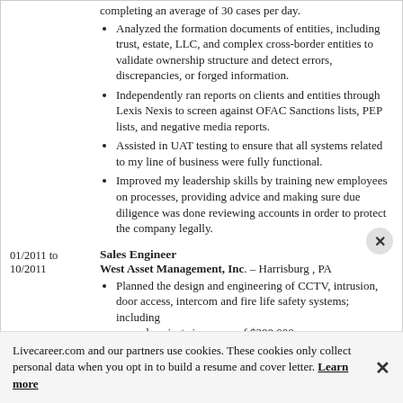Analyzed the formation documents of entities, including trust, estate, LLC, and complex cross-border entities to validate ownership structure and detect errors, discrepancies, or forged information.
Independently ran reports on clients and entities through Lexis Nexis to screen against OFAC Sanctions lists, PEP lists, and negative media reports.
Assisted in UAT testing to ensure that all systems related to my line of business were fully functional.
Improved my leadership skills by training new employees on processes, providing advice and making sure due diligence was done reviewing accounts in order to protect the company legally.
01/2011 to 10/2011
Sales Engineer
West Asset Management, Inc. – Harrisburg , PA
Planned the design and engineering of CCTV, intrusion, door access, intercom and fire life safety systems; including several projects in excess of $300,000.
Livecareer.com and our partners use cookies. These cookies only collect personal data when you opt in to build a resume and cover letter. Learn more